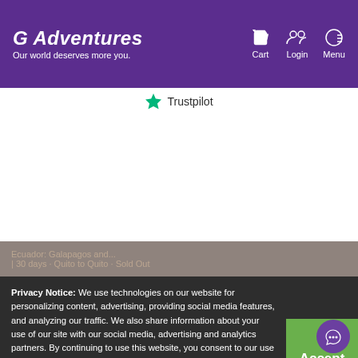G Adventures — Our world deserves more you. | Cart | Login | Menu
[Figure (logo): Trustpilot logo with star icon]
Privacy Notice: We use technologies on our website for personalizing content, advertising, providing social media features, and analyzing our traffic. We also share information about your use of our site with our social media, advertising and analytics partners. By continuing to use this website, you consent to our use of this technology. You can control this through your Privacy Options.